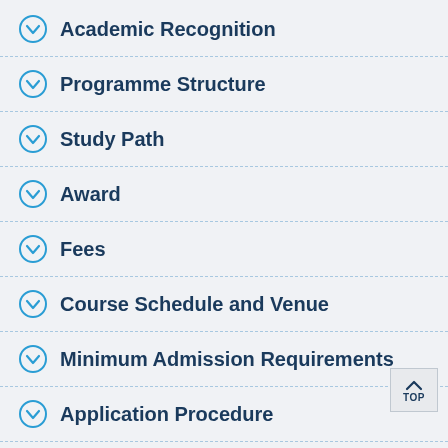Academic Recognition
Programme Structure
Study Path
Award
Fees
Course Schedule and Venue
Minimum Admission Requirements
Application Procedure
Notes to Applicants